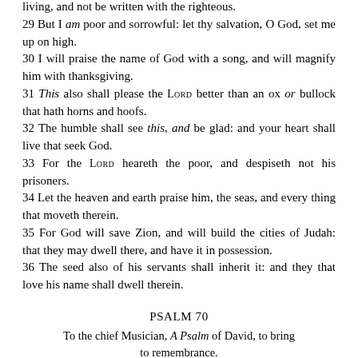living, and not be written with the righteous.
29 But I am poor and sorrowful: let thy salvation, O God, set me up on high.
30 I will praise the name of God with a song, and will magnify him with thanksgiving.
31 This also shall please the LORD better than an ox or bullock that hath horns and hoofs.
32 The humble shall see this, and be glad: and your heart shall live that seek God.
33 For the LORD heareth the poor, and despiseth not his prisoners.
34 Let the heaven and earth praise him, the seas, and every thing that moveth therein.
35 For God will save Zion, and will build the cities of Judah: that they may dwell there, and have it in possession.
36 The seed also of his servants shall inherit it: and they that love his name shall dwell therein.
PSALM 70
To the chief Musician, A Psalm of David, to bring to remembrance.
MAKE haste, O God, to deliver me; make haste to